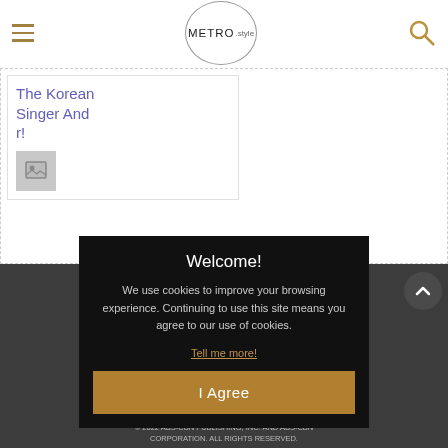METRO.style
[Figure (screenshot): Partial article card with heading 'The Korean Singer And r!' and a thumbnail placeholder image]
Welcome!
We use cookies to improve your browsing experience. Continuing to use this site means you agree to our use of cookies.
Tell me more!
I Agree
ADVERTISE WITH US
STAY CONNECTED
Follow us for the latest updates!
[Figure (illustration): Social media icons: Instagram, Facebook, Twitter, YouTube]
© 2022 ABS-CBN PUBLISHING, INC. AND ABS-CBN CORPORATION. ALL RIGHTS RESERVED.